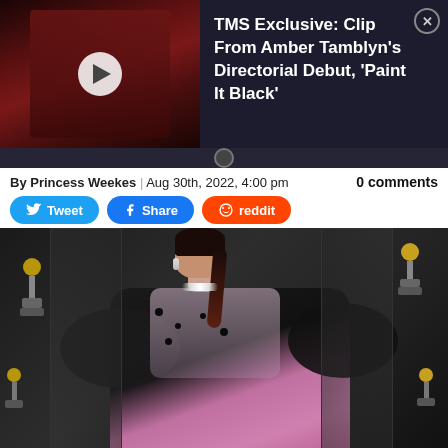[Figure (screenshot): Video thumbnail showing a person with dark hair in reddish dim lighting, with a white play button circle overlay. Right side shows dark background with article title text in white.]
TMS Exclusive: Clip From Amber Tamblyn's Directorial Debut, 'Paint It Black'
By Princess Weekes | Aug 30th, 2022, 4:00 pm
0 comments
Tweet  Share  reddit
[Figure (photo): A woman in an elaborate black and pink satin gown with sheer lace detailing and black floral embroidery, wearing a diamond necklace, with a braided updo, posing on a red carpet in front of Grammy award trophies backdrop.]